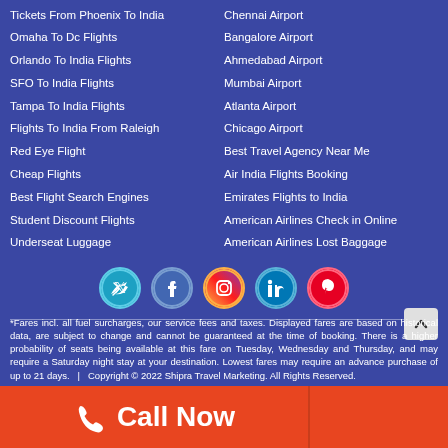Tickets From Phoenix To India
Chennai Airport
Omaha To Dc Flights
Bangalore Airport
Orlando To India Flights
Ahmedabad Airport
SFO To India Flights
Mumbai Airport
Tampa To India Flights
Atlanta Airport
Flights To India From Raleigh
Chicago Airport
Red Eye Flight
Best Travel Agency Near Me
Cheap Flights
Air India Flights Booking
Best Flight Search Engines
Emirates Flights to India
Student Discount Flights
American Airlines Check in Online
Underseat Luggage
American Airlines Lost Baggage
[Figure (infographic): Social media icons row: Twitter, Facebook, Instagram, LinkedIn, Pinterest]
*Fares incl. all fuel surcharges, our service fees and taxes. Displayed fares are based on historical data, are subject to change and cannot be guaranteed at the time of booking. There is a higher probability of seats being available at this fare on Tuesday, Wednesday and Thursday, and may require a Saturday night stay at your destination. Lowest fares may require an advance purchase of up to 21 days.   |   Copyright © 2022 Shipra Travel Marketing. All Rights Reserved.
Call Now